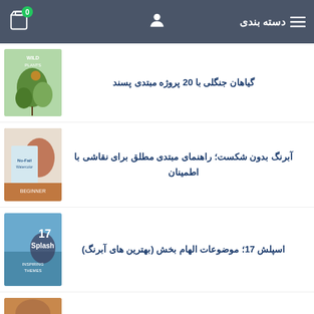دسته بندی
گیاهان جنگلی با 20 پروژه مبتدی پسند
آبرنگ بدون شکست؛ راهنمای مبتدی مطلق برای نقاشی با اطمینان
اسپلش 17؛ موضوعات الهام بخش (بهترین های آبرنگ)
طراحی آسان است؛ راهنمای گام به گام